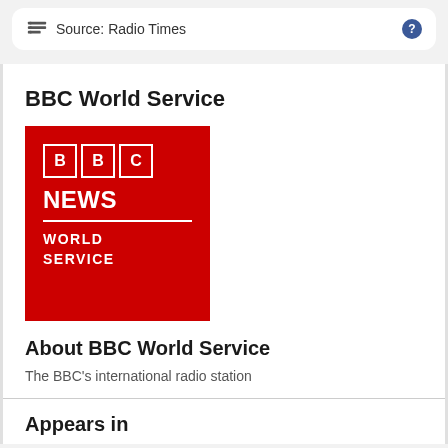Source: Radio Times ?
BBC World Service
[Figure (logo): BBC News World Service logo — red background with BBC blocks, NEWS text, horizontal divider, and WORLD SERVICE text in white]
About BBC World Service
The BBC's international radio station
Appears in
Radio Times Issue 3903
28th November 1998